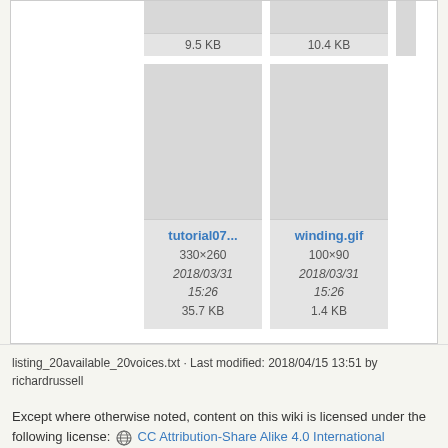[Figure (screenshot): File browser thumbnail grid showing image files with metadata. Top row: two partial thumbnails with sizes 9.5 KB and 10.4 KB. Bottom row: tutorial07... (330×260, 2018/03/31 15:26, 35.7 KB) and winding.gif (100×90, 2018/03/31 15:26, 1.4 KB).]
listing_20available_20voices.txt · Last modified: 2018/04/15 13:51 by richardrussell
Except where otherwise noted, content on this wiki is licensed under the following license: CC Attribution-Share Alike 4.0 International